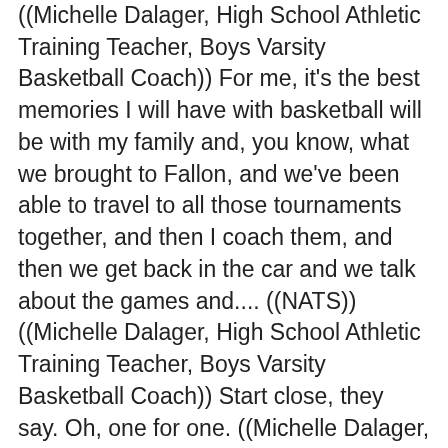((Michelle Dalager, High School Athletic Training Teacher, Boys Varsity Basketball Coach)) For me, it's the best memories I will have with basketball will be with my family and, you know, what we brought to Fallon, and we've been able to travel to all those tournaments together, and then I coach them, and then we get back in the car and we talk about the games and.... ((NATS)) ((Michelle Dalager, High School Athletic Training Teacher, Boys Varsity Basketball Coach)) Start close, they say. Oh, one for one. ((Michelle Dalager, High School Athletic Training Teacher, Boys Varsity Basketball Coach))  I was a terrible shooter in high school. And then, when I went to community college, it got a little bit better